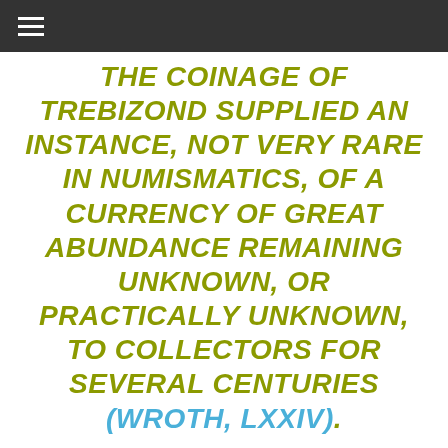THE COINAGE OF TREBIZOND SUPPLIED AN INSTANCE, NOT VERY RARE IN NUMISMATICS, OF A CURRENCY OF GREAT ABUNDANCE REMAINING UNKNOWN, OR PRACTICALLY UNKNOWN, TO COLLECTORS FOR SEVERAL CENTURIES (WROTH, LXXIV).
“…THE COINAGE OF THE EMPIRE OF TREBIZOND, THAT CINDERELLA OF THE LATE BYZANTINE COINAGE (BENDALL, 4).”